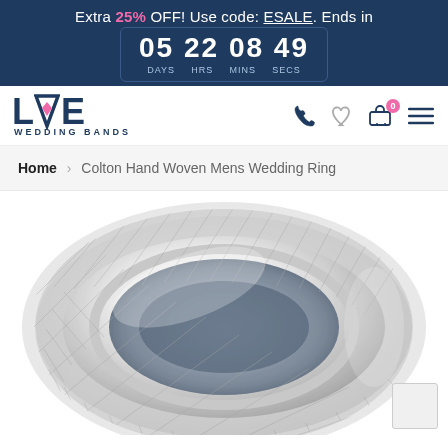Extra 25% OFF! Use code: ESALE. Ends in 05 22 08 49 DAYS HRS MINS SECS
[Figure (logo): Love Wedding Bands logo with pink diamond in the V]
Home > Colton Hand Woven Mens Wedding Ring
[Figure (photo): Close-up photo of a silver/white gold hand woven mens wedding ring with woven rope texture center and polished edges]